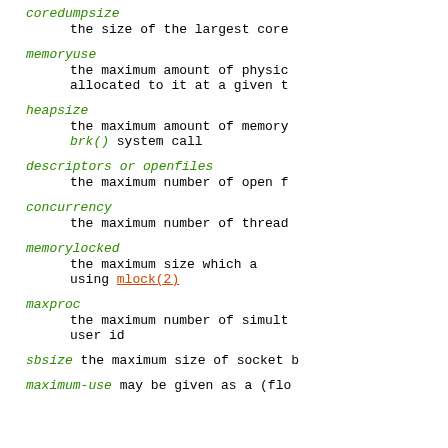coredumpsize
            the size of the largest core
memoryuse
            the maximum amount of physic
            allocated to it at a given t
heapsize
            the maximum amount of memory
            brk() system call
descriptors or openfiles
            the maximum number of open f
concurrency
            the maximum number of thread
memorylocked
            the maximum size which a
            using mlock(2)
maxproc
            the maximum number of simult
            user id
sbsize the maximum size of socket b
maximum-use  may be given as a (flo